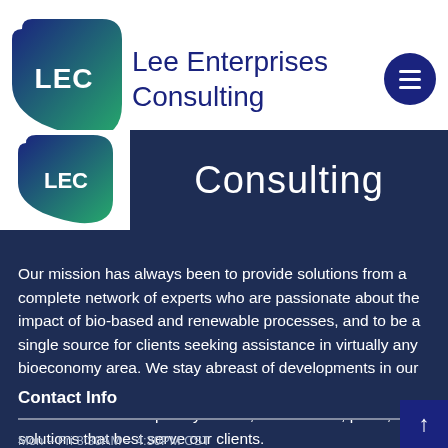[Figure (logo): Lee Enterprises Consulting logo — white 'LEC' text on a blue-to-green gradient rounded shape, with company name 'Lee Enterprises Consulting' in dark navy and a hamburger menu circle in dark navy]
[Figure (logo): LEC logo (white text on gradient blob) on white background next to large 'Consulting' text in white on dark navy banner]
Our mission has always been to provide solutions from a complete network of experts who are passionate about the impact of bio-based and renewable processes, and to be a single source for clients seeking assistance in virtually any bioeconomy area. We stay abreast of developments in our respective fields and collaborate regularly, allowing us to deliver the interdisciplinary advice, assessment, plans, and solutions that best serve our clients.
Contact Info